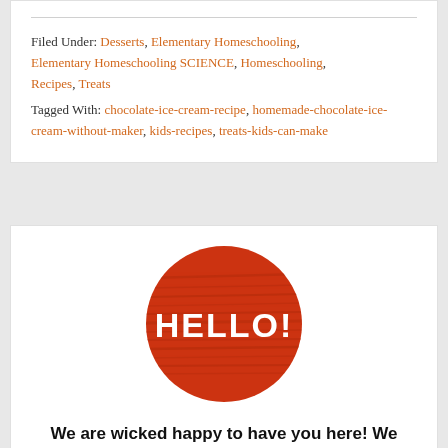Filed Under: Desserts, Elementary Homeschooling, Elementary Homeschooling SCIENCE, Homeschooling, Recipes, Treats
Tagged With: chocolate-ice-cream-recipe, homemade-chocolate-ice-cream-without-maker, kids-recipes, treats-kids-can-make
[Figure (illustration): Red circle badge with horizontal stripe texture and bold white text reading HELLO!]
We are wicked happy to have you here! We invite you to connect with us anywhere you are, too!
[Figure (illustration): Blue Facebook button with white bold text reading Facebook]